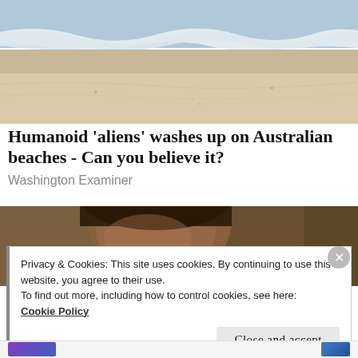[Figure (photo): Beach scene with ocean waves and sandy shore, viewed from above]
Humanoid 'aliens' washes up on Australian beaches - Can you believe it?
Washington Examiner
[Figure (photo): Close-up of a person's head/forehead, partially cropped]
Privacy & Cookies: This site uses cookies. By continuing to use this website, you agree to their use.
To find out more, including how to control cookies, see here:
Cookie Policy
Close and accept